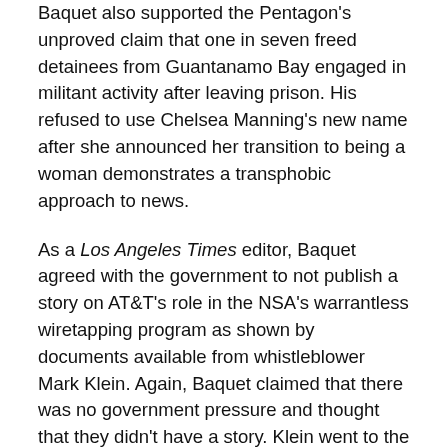Baquet also supported the Pentagon's unproved claim that one in seven freed detainees from Guantanamo Bay engaged in militant activity after leaving prison. His refused to use Chelsea Manning's new name after she announced her transition to being a woman demonstrates a transphobic approach to news.
As a Los Angeles Times editor, Baquet agreed with the government to not publish a story on AT&T's role in the NSA's warrantless wiretapping program as shown by documents available from whistleblower Mark Klein. Again, Baquet claimed that there was no government pressure and thought that they didn't have a story. Klein went to the NYT with his documents.
At a conference this year, Abramson said, "The responsibility that a news organization has to a source is to really live up to the word that is given by one of our